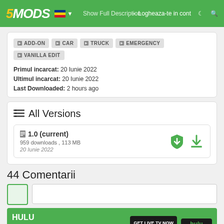5MODS | Logheaza-te in cont
Show Full Description
ADD-ON
CAR
TRUCK
EMERGENCY
VANILLA EDIT
Primul incarcat: 20 Iunie 2022
Ultimul incarcat: 20 Iunie 2022
Last Downloaded: 2 hours ago
All Versions
1.0 (current)
959 downloads , 113 MB
20 Iunie 2022
44 Comentarii
[Figure (screenshot): Hulu advertisement banner with text: HULU +75+ LIVE CHANNELS +DISNEY+ +ESPN+ with GET LIVE TV NOW button and Hulu + LIVE TV logo]